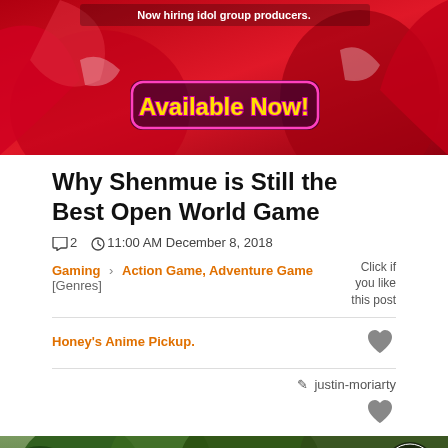[Figure (illustration): Red anime game banner with 'Now hiring idol group producers.' text and 'Available Now!' stylized text in yellow-orange with pink outline.]
Why Shenmue is Still the Best Open World Game
2  11:00 AM December 8, 2018
Gaming > Action Game, Adventure Game [Genres]    Click if you like this post
Honey's Anime Pickup.
justin-moriarty
[Figure (screenshot): Screenshot from Shenmue game showing a character standing in a forested area with a clock UI overlay in the bottom right.]